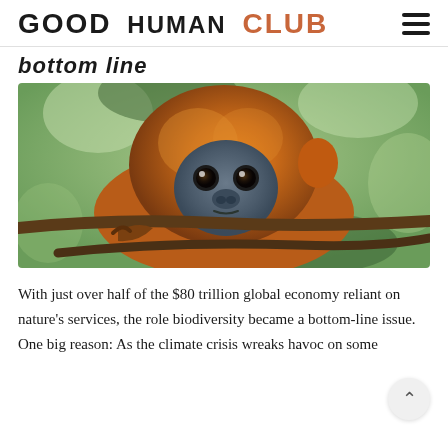GOOD HUMAN CLUB
bottom line
[Figure (photo): Close-up photograph of an orange/golden-furred monkey (likely a red leaf monkey or Maroon langur) clinging to a tree branch in a leafy green environment, looking directly at the camera with dark eyes and a grey face.]
With just over half of the $80 trillion global economy reliant on nature's services, the role biodiversity became a bottom-line issue. One big reason: As the climate crisis wreaks havoc on some